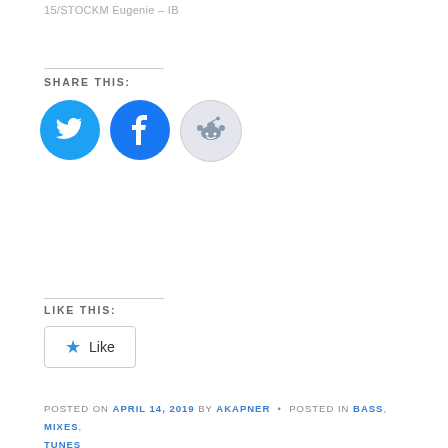15/STOCKM Eugenie - IB
SHARE THIS:
[Figure (infographic): Three social share icon circles: Twitter (blue), Facebook (blue), Reddit (light grey)]
LIKE THIS:
Like (button with star icon)
POSTED ON APRIL 14, 2019 BY AKAPNER • POSTED IN BASS, MIXES, TUNES
Leave a Reply